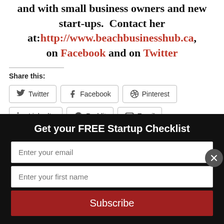and with small business owners and new start-ups.  Contact her at:http://www.beachbusinesshub.ca, on Facebook and on Twitter
Share this:
Twitter | Facebook | Pinterest | LinkedIn | Reddit | Email
Get your FREE Startup Checklist
Enter your email
Enter your first name
Subscribe